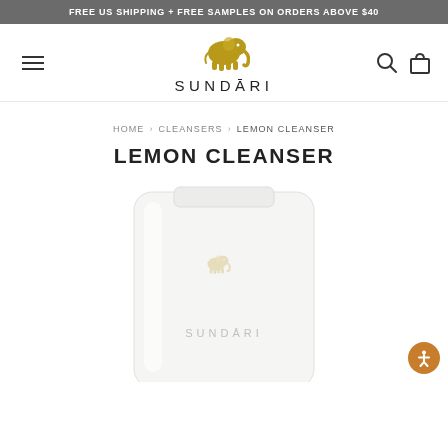FREE US SHIPPING + FREE SAMPLES ON ORDERS ABOVE $40
[Figure (logo): Sundari brand logo with golden elephant icon above the text SUNDARI]
HOME > CLEANSERS > LEMON CLEANSER
LEMON CLEANSER
[Figure (photo): White tube product of Sundari Lemon Cleanser, with a faint gold elephant logo and SUNDARI text on the tube]